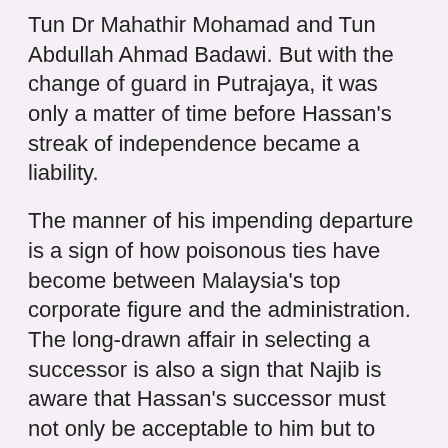Tun Dr Mahathir Mohamad and Tun Abdullah Ahmad Badawi. But with the change of guard in Putrajaya, it was only a matter of time before Hassan's streak of independence became a liability.
The manner of his impending departure is a sign of how poisonous ties have become between Malaysia's top corporate figure and the administration. The long-drawn affair in selecting a successor is also a sign that Najib is aware that Hassan's successor must not only be acceptable to him but to other stakeholders, especially Petronas staff.
This rotten young brat was a former Petronas employee and his boss then when he was in Corporate Planning was the retired Datuk Shamsul Azhar Abbas. It seems Datuk Samsul is also friendly with a daughter of a Tan Sri Mahmood that is closely related with that young brat.
This blogger have been press the brakes from being continually critical on this young brat since it was revealed by some sources that he had was never part of Khairy and the 4th Floor mafia.